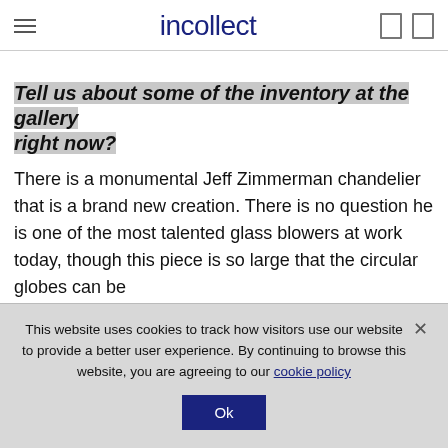incollect
Tell us about some of the inventory at the gallery right now?
There is a monumental Jeff Zimmerman chandelier that is a brand new creation. There is no question he is one of the most talented glass blowers at work today, though this piece is so large that the circular globes can be
This website uses cookies to track how visitors use our website to provide a better user experience. By continuing to browse this website, you are agreeing to our cookie policy  Ok